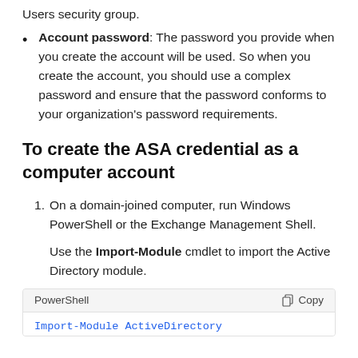Users security group.
Account password: The password you provide when you create the account will be used. So when you create the account, you should use a complex password and ensure that the password conforms to your organization's password requirements.
To create the ASA credential as a computer account
1. On a domain-joined computer, run Windows PowerShell or the Exchange Management Shell.
Use the Import-Module cmdlet to import the Active Directory module.
[Figure (screenshot): PowerShell code block header with 'PowerShell' label and 'Copy' button, with 'Import-Module ActiveDirectory' code partially visible]